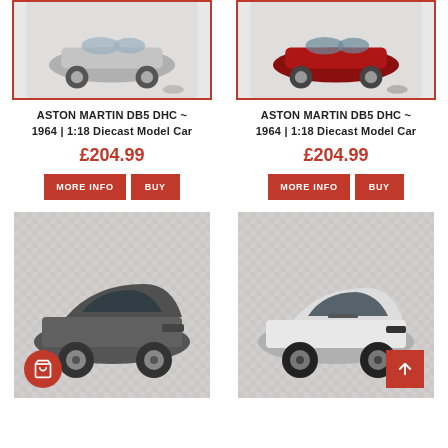[Figure (photo): Aston Martin DB5 DHC 1964 diecast model car in silver/grey, shown from side angle with red border frame]
ASTON MARTIN DB5 DHC ~ 1964 | 1:18 Diecast Model Car
£204.99
MORE INFO  BUY
[Figure (photo): Aston Martin DB5 DHC 1964 diecast model car in red/dark colour, shown from side angle with red border frame]
ASTON MARTIN DB5 DHC ~ 1964 | 1:18 Diecast Model Car
£204.99
MORE INFO  BUY
[Figure (photo): Dark grey Aston Martin DB11 style diecast model car on checkered background]
[Figure (photo): White Aston Martin DBS style diecast model car on checkered background]